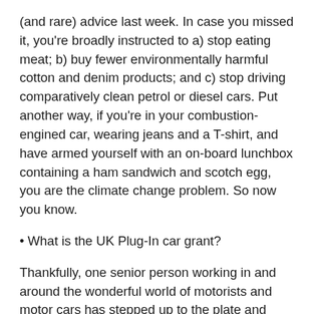(and rare) advice last week. In case you missed it, you're broadly instructed to a) stop eating meat; b) buy fewer environmentally harmful cotton and denim products; and c) stop driving comparatively clean petrol or diesel cars. Put another way, if you're in your combustion-engined car, wearing jeans and a T-shirt, and have armed yourself with an on-board lunchbox containing a ham sandwich and scotch egg, you are the climate change problem. So now you know.
• What is the UK Plug-In car grant?
Thankfully, one senior person working in and around the wonderful world of motorists and motor cars has stepped up to the plate and given buyers a sensible,